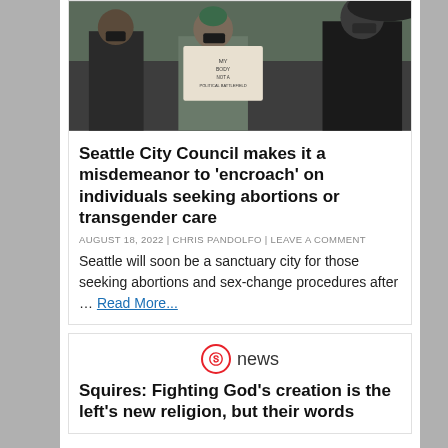[Figure (photo): Protest photo showing people wearing masks, one holding a sign reading 'MY BODY NOT A POLITICAL BATTLEFIELD']
Seattle City Council makes it a misdemeanor to 'encroach' on individuals seeking abortions or transgender care
AUGUST 18, 2022 | CHRIS PANDOLFO | LEAVE A COMMENT
Seattle will soon be a sanctuary city for those seeking abortions and sex-change procedures after … Read More...
[Figure (logo): The Blaze News logo - circular stylized B icon with 'news' text]
Squires: Fighting God's creation is the left's new religion, but their words